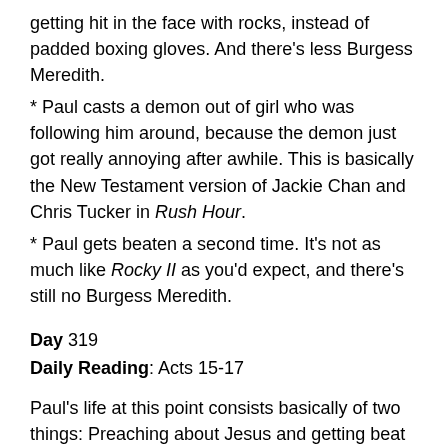getting hit in the face with rocks, instead of padded boxing gloves.  And there's less Burgess Meredith.
* Paul casts a demon out of girl who was following him around, because the demon just got really annoying after awhile.  This is basically the New Testament version of Jackie Chan and Chris Tucker in Rush Hour.
* Paul gets beaten a second time.  It's not as much like Rocky II as you'd expect, and there's still no Burgess Meredith.
Day 319
Daily Reading: Acts 15-17
Paul's life at this point consists basically of two things: Preaching about Jesus and getting beat up, and preaching about Jesus and safely running away from an angry mob.  Pretty simple really.  Acts 15 has Paul preaching about